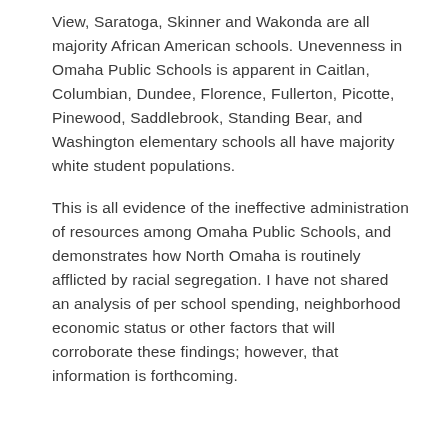View, Saratoga, Skinner and Wakonda are all majority African American schools. Unevenness in Omaha Public Schools is apparent in Caitlan, Columbian, Dundee, Florence, Fullerton, Picotte, Pinewood, Saddlebrook, Standing Bear, and Washington elementary schools all have majority white student populations.
This is all evidence of the ineffective administration of resources among Omaha Public Schools, and demonstrates how North Omaha is routinely afflicted by racial segregation. I have not shared an analysis of per school spending, neighborhood economic status or other factors that will corroborate these findings; however, that information is forthcoming.